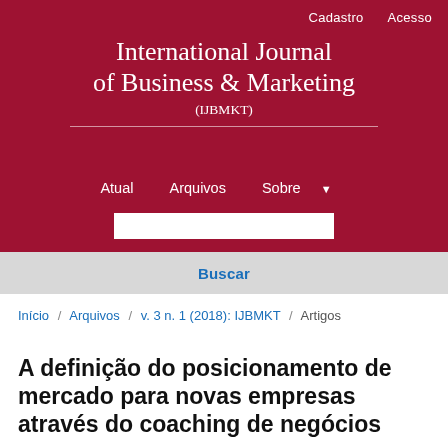Cadastro   Acesso
International Journal of Business & Marketing (IJBMKT)
Atual   Arquivos   Sobre
Buscar
Início / Arquivos / v. 3 n. 1 (2018): IJBMKT / Artigos
A definição do posicionamento de mercado para novas empresas através do coaching de negócios